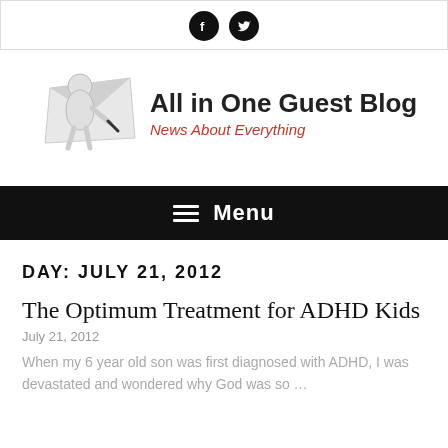[Figure (logo): Social media icons bar with Facebook and Twitter circular icons]
[Figure (logo): All in One Guest Blog logo with a 3D figure writing on paper. Text: 'All in One Guest Blog' and tagline 'News About Everything' in red italic.]
[Figure (infographic): Black navigation menu bar with hamburger icon and 'Menu' label in white]
DAY: JULY 21, 2012
The Optimum Treatment for ADHD Kids
July 21, 2012
When my 6 year old son was first diagnosed with ADHD, I was devastated and wondered why God was so …